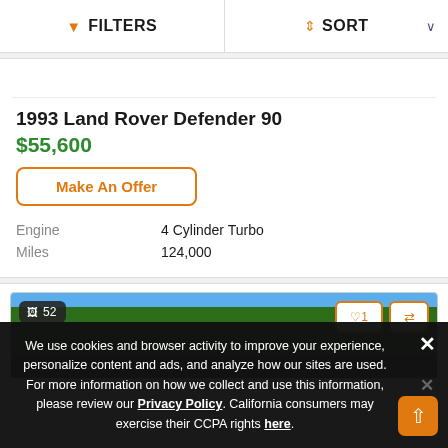FILTERS  SORT
1993 Land Rover Defender 90
$55,600
Make An Offer
| Engine | 4 Cylinder Turbo |
| Miles | 124,000 |
[Figure (photo): Second vehicle listing card showing photo count badge of 52, heart/compare action buttons, and partial vehicle photo with trees and sky]
We use cookies and browser activity to improve your experience, personalize content and ads, and analyze how our sites are used. For more information on how we collect and use this information, please review our Privacy Policy. California consumers may exercise their CCPA rights here.